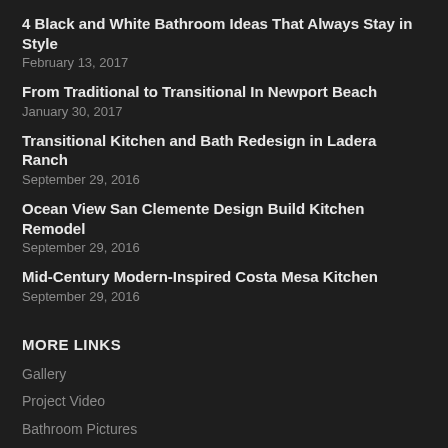4 Black and White Bathroom Ideas That Always Stay in Style
February 13, 2017
From Traditional to Transitional In Newport Beach
January 30, 2017
Transitional Kitchen and Bath Redesign in Ladera Ranch
September 29, 2016
Ocean View San Clemente Design Build Kitchen Remodel
September 29, 2016
Mid-Century Modern-Inspired Costa Mesa Kitchen
September 29, 2016
MORE LINKS
Gallery
Project Video
Bathroom Pictures
Kitchen Remodels in Orange County, California
Before & After
Kitchen Pictures